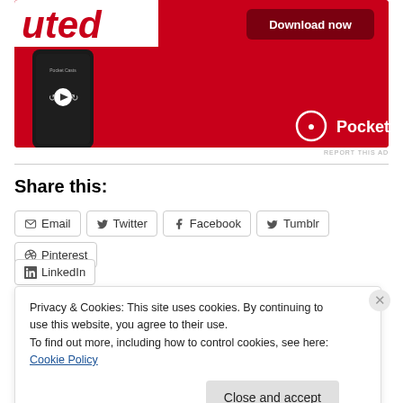[Figure (illustration): Pocket Casts advertisement banner showing a smartphone on red background with 'Download now' button and Pocket Casts logo]
REPORT THIS AD
Share this:
Email
Twitter
Facebook
Tumblr
Pinterest
LinkedIn
Privacy & Cookies: This site uses cookies. By continuing to use this website, you agree to their use.
To find out more, including how to control cookies, see here: Cookie Policy
Close and accept